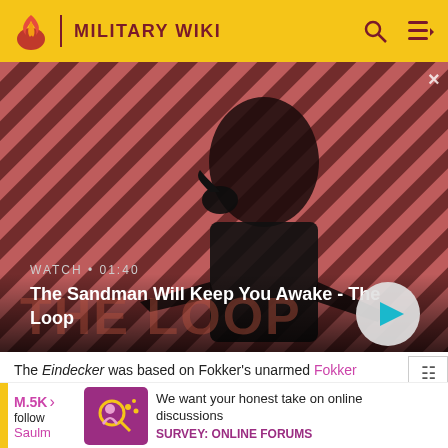MILITARY WIKI
[Figure (screenshot): Video thumbnail featuring a dark figure with a bird on shoulder against diagonal red and dark striped background. Text overlay: WATCH • 01:40, The Sandman Will Keep You Awake - The Loop. Play button visible at bottom right.]
The Eindecker was based on Fokker's unarmed Fokker
M.5K
follow
Saulm
[Figure (infographic): Survey advertisement with purple/magenta icon showing magnifying glass and person silhouette. Text: We want your honest take on online discussions. SURVEY: ONLINE FORUMS]